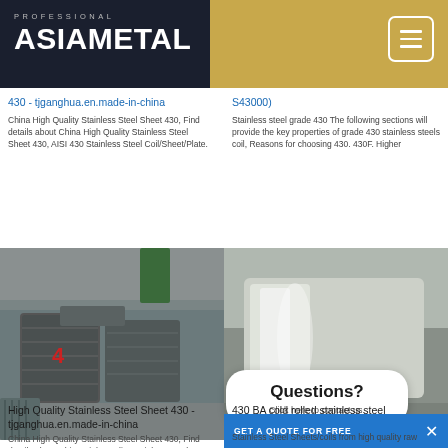PROFESSIONAL ASIAMETAL
430 - tjganghua.en.made-in-china
China High Quality Stainless Steel Sheet 430, Find details about China High Quality Stainless Steel Sheet 430, AISI 430 Stainless Steel Coil/Sheet/Plate.
S43000)
Stainless steel grade 430 The following sections will provide the key properties of grade 430 stainless steels coil, Reasons for choosing 430. 430F. Higher
[Figure (photo): Two photos side by side: left shows stainless steel scrap/coil bundles stacked in a warehouse; right shows a smooth rolled stainless steel sheet/coil in a factory setting.]
Questions?
Click here to contact us.
High Quality Stainless Steel Sheet 430 - tjganghua.en.made-in-china
China High Quality Stainless Steel Sheet 430, Find details about China High Quality Stainless Steel Sheet
430 BA cold rolled stainless steel
Stainless Steel Sheets/coils from high quality raw
GET A QUOTE FOR FREE